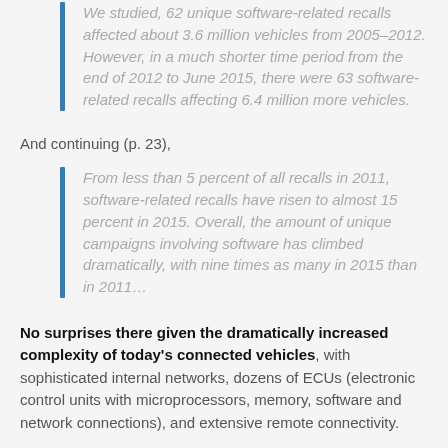We studied, 62 unique software-related recalls affected about 3.6 million vehicles from 2005–2012. However, in a much shorter time period from the end of 2012 to June 2015, there were 63 software-related recalls affecting 6.4 million more vehicles.
And continuing (p. 23),
From less than 5 percent of all recalls in 2011, software-related recalls have risen to almost 15 percent in 2015. Overall, the amount of unique campaigns involving software has climbed dramatically, with nine times as many in 2015 than in 2011…
No surprises there given the dramatically increased complexity of today's connected vehicles, with sophisticated internal networks, dozens of ECUs (electronic control units with microprocessors, memory, software and network connections), and extensive remote connectivity.
These software defects are not occurring only in systems where one expects to find sophisticated